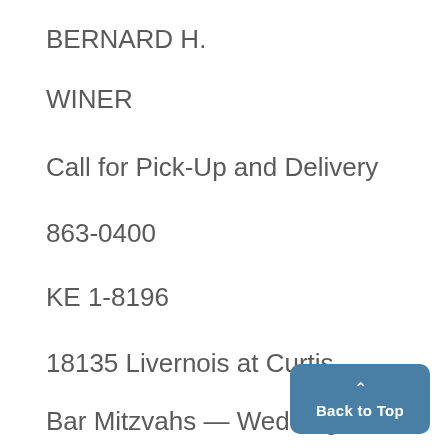BERNARD H.
WINER
Call for Pick-Up and Delivery
863-0400
KE 1-8196
18135 Livernois at Curtis
Bar Mitzvahs — Weddings